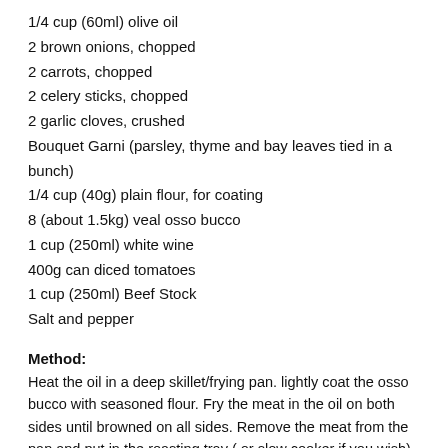1/4 cup (60ml) olive oil
2 brown onions, chopped
2 carrots, chopped
2 celery sticks, chopped
2 garlic cloves, crushed
Bouquet Garni (parsley, thyme and bay leaves tied in a bunch)
1/4 cup (40g) plain flour, for coating
8 (about 1.5kg) veal osso bucco
1 cup (250ml) white wine
400g can diced tomatoes
1 cup (250ml) Beef Stock
Salt and pepper
Method:
Heat the oil in a deep skillet/frying pan. lightly coat the osso bucco with seasoned flour. Fry the meat in the oil on both sides until browned on all sides. Remove the meat from the pan and put in the roasting tray ( or slow cooker if you wish). Fry the vegetables and garlic in the same pan until soft, deglaze the pan with the wine. add the bouquet garni, stock and tomatoes, stir to the simmer. Pour over the meat and braise in the oven for at least three ours on a low to medium heat. Or in the slow cooker for 6-8 hours. If braising in the oven check the level of the liquid every hour